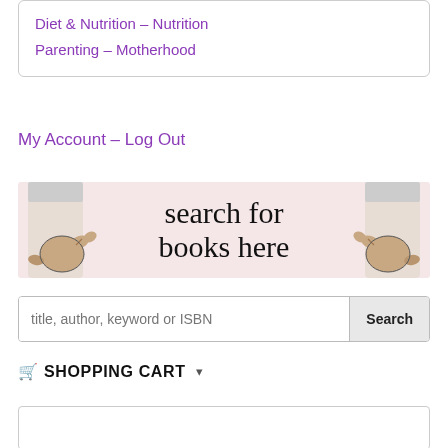Diet & Nutrition – Nutrition
Parenting – Motherhood
My Account – Log Out
[Figure (illustration): Banner image with pink background, two pointing hands on each side, and large serif text reading 'search for books here']
title, author, keyword or ISBN
SHOPPING CART